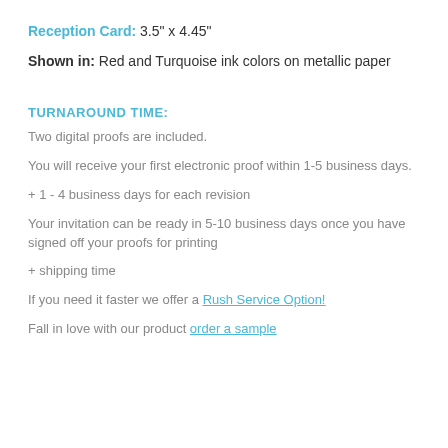Reception Card: 3.5" x 4.45"
Shown in: Red and Turquoise ink colors on metallic paper
TURNAROUND TIME:
Two digital proofs are included.
You will receive your first electronic proof within 1-5 business days.
+ 1 - 4 business days for each revision
Your invitation can be ready in 5-10 business days once you have signed off your proofs for printing
+ shipping time
If you need it faster we offer a Rush Service Option!
Fall in love with our product order a sample